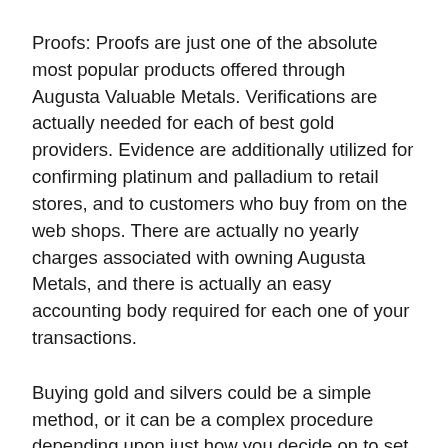Proofs: Proofs are just one of the absolute most popular products offered through Augusta Valuable Metals. Verifications are actually needed for each of best gold providers. Evidence are additionally utilized for confirming platinum and palladium to retail stores, and to customers who buy from on the web shops. There are actually no yearly charges associated with owning Augusta Metals, and there is actually an easy accounting body required for each one of your transactions.
Buying gold and silvers could be a simple method, or it can be a complex procedure depending upon just how you decide on to set about spending. If you need to have